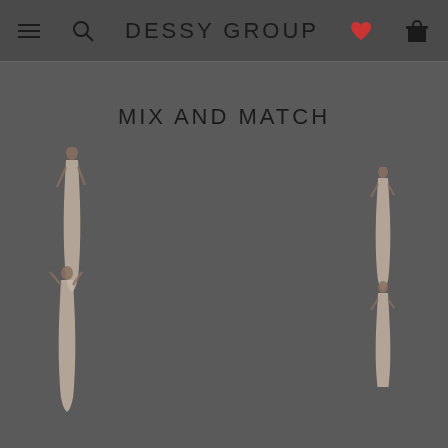DESSY GROUP
MIX AND MATCH
[Figure (photo): Two groups of female models in bridesmaid dresses displayed left and right sides of a carousel slider, with three pagination dots below]
ACCESSORIZE
[Figure (photo): Two accessory items (shoes/hats) shown at bottom of page]